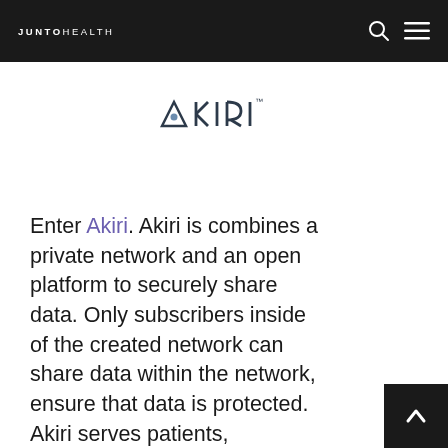JUNTO HEALTH
[Figure (logo): Akiri company logo — stylized 'A' with triangle/drop shape followed by 'KIRI' in dark letters, and a small registered trademark symbol]
Enter Akiri. Akiri is combines a private network and an open platform to securely share data. Only subscribers inside of the created network can share data within the network, ensure that data is protected. Akiri serves patients, providers, physicians, pharma,